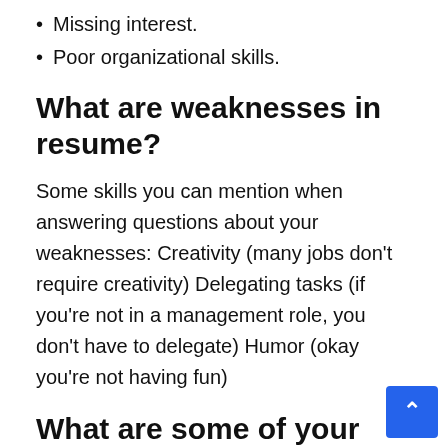Missing interest.
Poor organizational skills.
What are weaknesses in resume?
Some skills you can mention when answering questions about your weaknesses: Creativity (many jobs don't require creativity) Delegating tasks (if you're not in a management role, you don't have to delegate) Humor (okay you're not having fun)
What are some of your child weaknesses?